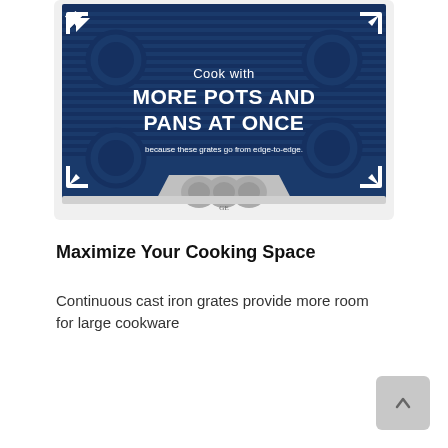[Figure (photo): Photo of a GE gas cooktop with dark blue overlay and white text reading 'Cook with MORE POTS AND PANS AT ONCE because these grates go from edge-to-edge.' White expand arrows at each corner. Stainless steel knobs visible at bottom center.]
Maximize Your Cooking Space
Continuous cast iron grates provide more room for large cookware